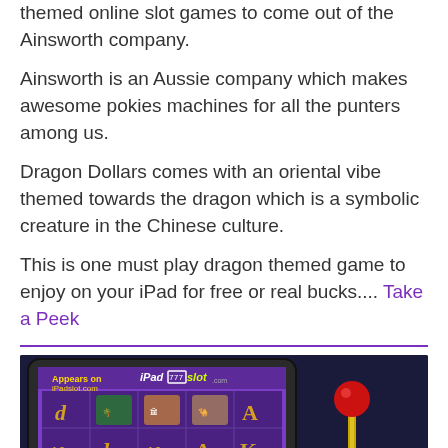themed online slot games to come out of the Ainsworth company.
Ainsworth is an Aussie company which makes awesome pokies machines for all the punters among us.
Dragon Dollars comes with an oriental vibe themed towards the dragon which is a symbolic creature in the Chinese culture.
This is one must play dragon themed game to enjoy on your iPad for free or real bucks.... Take a Peek
[Figure (screenshot): Screenshot of Dragon Dollars slot game on an iPad, showing a purple-themed oriental slot machine interface with game symbols including playing card values, animals, and treasure chests. An iPadslot.com logo is visible at the top. A brass slot machine lever with a red ball handle is shown to the right of the iPad.]